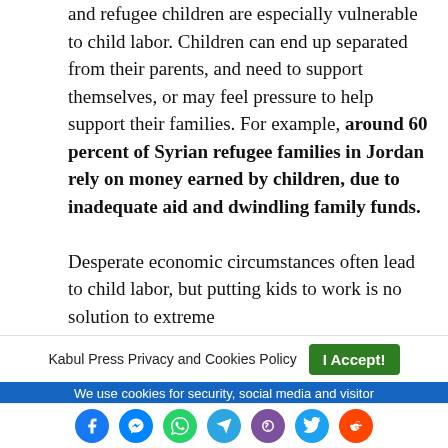and refugee children are especially vulnerable to child labor. Children can end up separated from their parents, and need to support themselves, or may feel pressure to help support their families. For example, around 60 percent of Syrian refugee families in Jordan rely on money earned by children, due to inadequate aid and dwindling family funds.

Desperate economic circumstances often lead to child labor, but putting kids to work is no solution to extreme
Kabul Press Privacy and Cookies Policy | I Accept! | We use cookies for security, social media and visitor